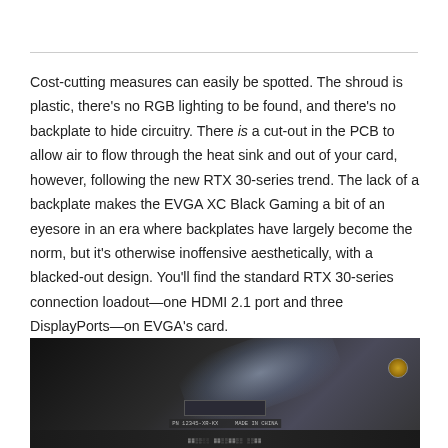Cost-cutting measures can easily be spotted. The shroud is plastic, there's no RGB lighting to be found, and there's no backplate to hide circuitry. There is a cut-out in the PCB to allow air to flow through the heat sink and out of your card, however, following the new RTX 30-series trend. The lack of a backplate makes the EVGA XC Black Gaming a bit of an eyesore in an era where backplates have largely become the norm, but it's otherwise inoffensive aesthetically, with a blacked-out design. You'll find the standard RTX 30-series connection loadout—one HDMI 2.1 port and three DisplayPorts—on EVGA's card.
[Figure (photo): Close-up photo of the back of a graphics card PCB in a dark setting, showing circuit board components, labels, and a circular port connector on the right side.]